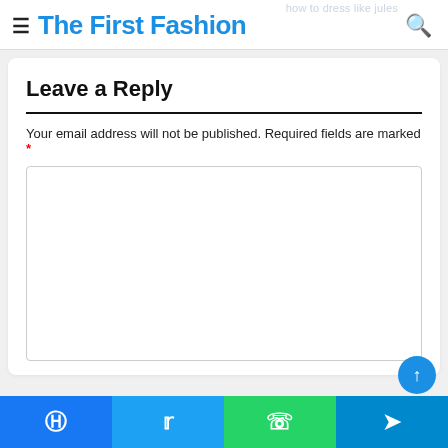The First Fashion
Leave a Reply
Your email address will not be published. Required fields are marked *